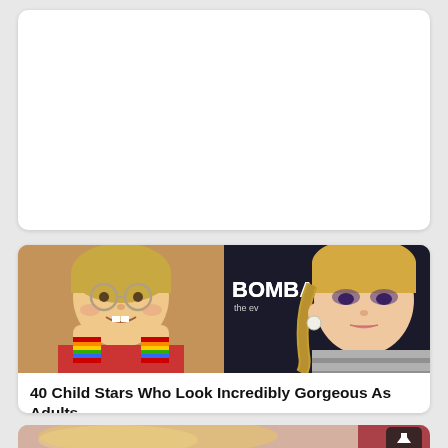[Figure (screenshot): Top white card area, blank/empty white rounded card]
[Figure (photo): Side-by-side photos: left shows a young girl child actress with round glasses, gap-toothed smile, red outfit and rainbow striped wrist warmers; right shows the same actress grown up as a beautiful blond adult woman wearing a metallic silver top at a Bombay event]
40 Child Stars Who Look Incredibly Gorgeous As Adults
[Figure (photo): Bottom partial photo showing a blond woman, partially cropped, with red background lighting. Back-to-top arrow button visible in lower right.]